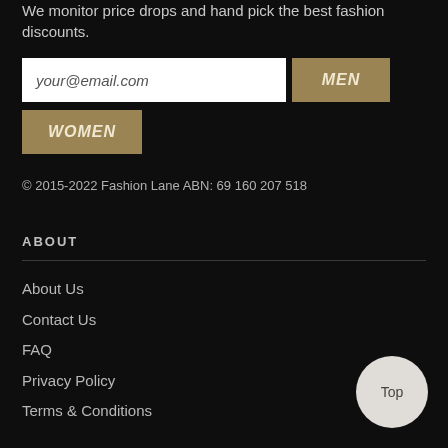We monitor price drops and hand pick the best fashion discounts.
your@email.com
MEN
WOMEN
© 2015-2022 Fashion Lane ABN: 69 160 207 518
ABOUT
About Us
Contact Us
FAQ
Privacy Policy
Terms & Conditions
Top